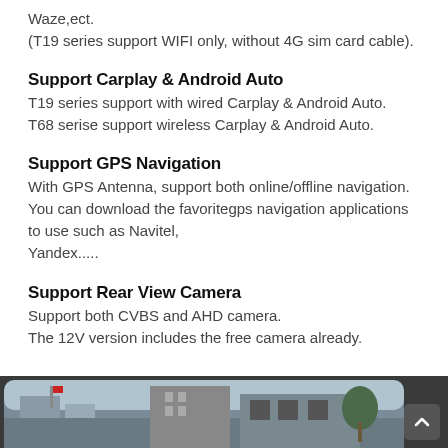Waze,ect.
(T19 series support WIFI only, without 4G sim card cable).
Support Carplay & Android Auto
T19 series support with wired Carplay & Android Auto.
T68 serise support wireless Carplay & Android Auto.
Support GPS Navigation
With GPS Antenna, support both online/offline navigation. You can download the favoritegps navigation applications to use such as Navitel,
Yandex.....
Support Rear View Camera
Support both CVBS and AHD camera.
The 12V version includes the free camera already.
[Figure (photo): Street-level photo showing city buildings and street scenes, partially visible at the bottom of the page.]